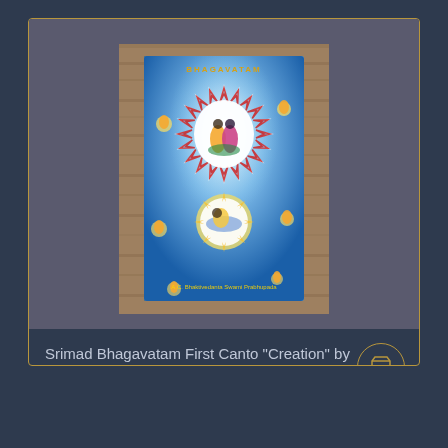[Figure (photo): Photo of Srimad Bhagavatam First Canto book with blue celestial cover featuring a central floral medallion with Krishna figures, smaller lower medallion, and small deity figures scattered around, placed on a wooden surface]
Srimad Bhagavatam First Canto "Creation" by A. C. Bhaktivedanta Swami Prabhupada
Sold Out